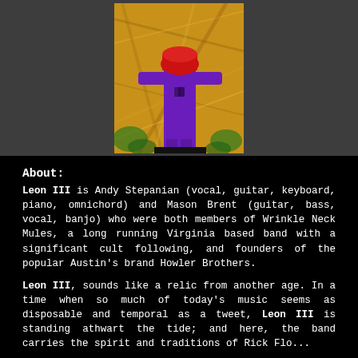[Figure (illustration): A psychedelic concert poster illustration showing a figure in purple outfit with a red head/hat against a golden/yellow swirling background, displayed on a dark gray background.]
About:
Leon III is Andy Stepanian (vocal, guitar, keyboard, piano, omnichord) and Mason Brent (guitar, bass, vocal, banjo) who were both members of Wrinkle Neck Mules, a long running Virginia based band with a significant cult following, and founders of the popular Austin's brand Howler Brothers.
Leon III, sounds like a relic from another age. In a time when so much of today's music seems as disposable and temporal as a tweet, Leon III is standing athwart the tide; and here, the band carries the spirit and traditions of Rick Flo...